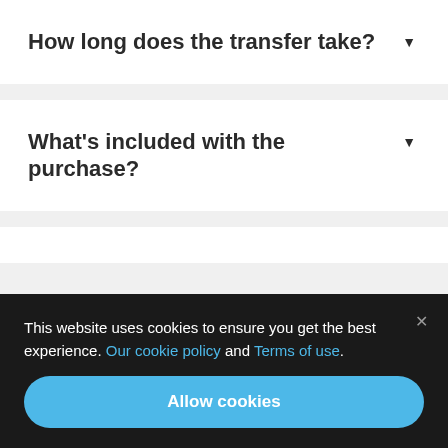How long does the transfer take?
What's included with the purchase?
This website uses cookies to ensure you get the best experience. Our cookie policy and Terms of use.
Allow cookies